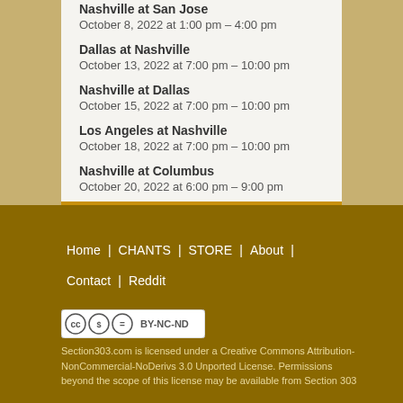Nashville at San Jose
October 8, 2022 at 1:00 pm – 4:00 pm
Dallas at Nashville
October 13, 2022 at 7:00 pm – 10:00 pm
Nashville at Dallas
October 15, 2022 at 7:00 pm – 10:00 pm
Los Angeles at Nashville
October 18, 2022 at 7:00 pm – 10:00 pm
Nashville at Columbus
October 20, 2022 at 6:00 pm – 9:00 pm
Home | CHANTS | STORE | About | Contact | Reddit
Section303.com is licensed under a Creative Commons Attribution-NonCommercial-NoDerivs 3.0 Unported License. Permissions beyond the scope of this license may be available from Section 303